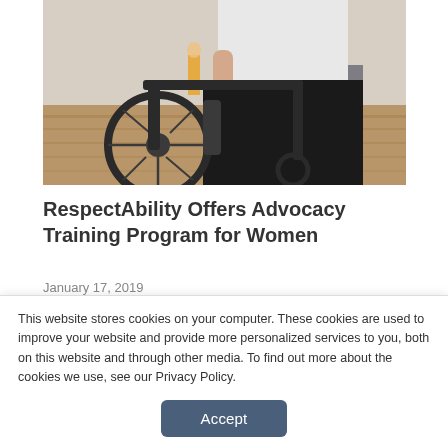[Figure (photo): Close-up photo of a person in a wheelchair, wearing black pants and a white top, with a wooden floor interior space visible in the background.]
RespectAbility Offers Advocacy Training Program for Women
January 17, 2019
[Figure (photo): Partial colorful image strip visible at bottom of article card.]
This website stores cookies on your computer. These cookies are used to improve your website and provide more personalized services to you, both on this website and through other media. To find out more about the cookies we use, see our Privacy Policy.